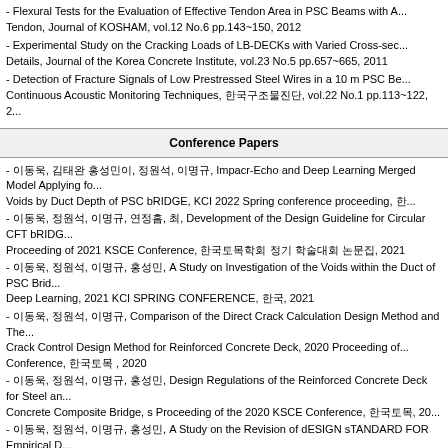- Flexural Tests for the Evaluation of Effective Tendon Area in PSC Beams with A... Tendon, Journal of KOSHAM, vol.12 No.6 pp.143~150, 2012
- Experimental Study on the Cracking Loads of LB-DECKs with Varied Cross-sec... Details, Journal of the Korea Concrete Institute, vol.23 No.5 pp.657~665, 2011
- Detection of Fracture Signals of Low Prestressed Steel Wires in a 10 m PSC Be... Continuous Acoustic Monitoring Techniques, [Korean], vol.22 No.1 pp.113~122, 2...
Conference Papers
- [Korean], Impacr-Echo and Deep Learning Merged Model Applying fo... Voids by Duct Depth of PSC bRIDGE, KCI 2022 Spring conference proceeding, ...
- [Korean], Development of the Design Guideline for Circular CFT bRIDG... Proceeding of 2021 KSCE Conference, [Korean], 2021
- [Korean], A Study on Investigation of the Voids within the Duct of PSC Brid... Deep Learning, 2021 KCI SPRING CONFERENCE, [Korean], 2021
- [Korean], Comparison of the Direct Crack Calculation Design Method and The... Crack Control Design Method for Reinforced Concrete Deck, 2020 Proceeding of... Conference, [Korean], 2020
- [Korean], Design Regulations of the Reinforced Concrete Deck for Steel an... Concrete Composite Bridge, s Proceeding of the 2020 KSCE Conference, [Korean], 20...
- [Korean], A Study on the Revision of dESIGN sTANDARD FOR Empirical D... Bridge Decks, Proceeding of the 2020 KSCE Conference, [Korean], 2020
- [Korean], Comparison of Transfer Lengths in Pretensioned Concrete M... Meaused Using Various Sensors, Proceedings of KCI 2019 Autumn Conference, ...
- [Korean], A Theoretical Study on the Calculation Method of Crack Width for Comp... Bridge Deck by Eurocode, Proceedings of 2019 KSSC Conference, [Korean], 2019